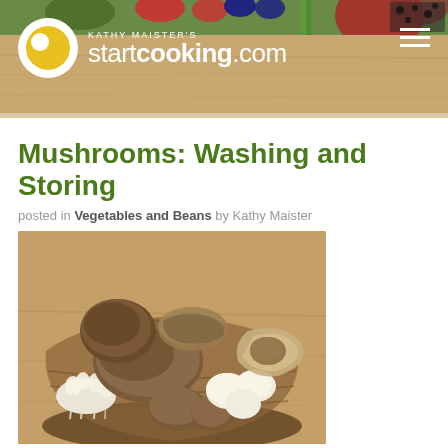[Figure (photo): startcooking.com website header banner with logo showing a yellow circle on white circle, site name 'startcooking.com' in white, with food/vegetables in background and hamburger menu icon]
Mushrooms: Washing and Storing
posted in Vegetables and Beans by Kathy Maister
[Figure (photo): A basket filled with a variety of fresh mushrooms including white button mushrooms, brown cremini mushrooms, shiitake mushrooms, and enoki mushrooms on a wooden surface]
Fresh mushrooms are a pretty common vegetable, found loose or pre-packaged at the grocery store. There are quite